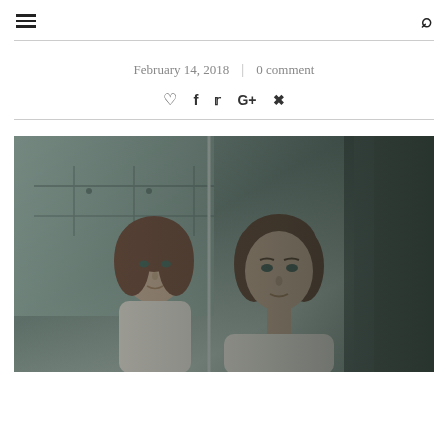≡  🔍
February 14, 2018  |  0 comment
♡  f  🐦  G+   pinterest
[Figure (photo): A woman with brown hair looking at her reflection in a mirror, in a muted teal/grey locker room setting. The image is cinematic and moody.]